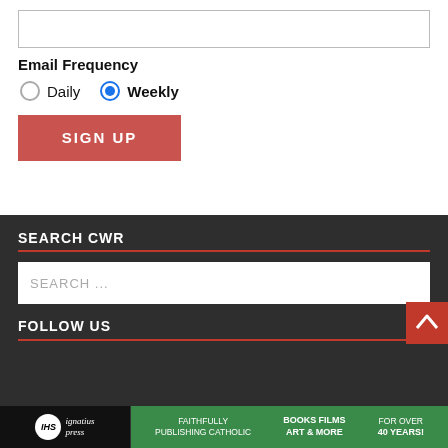[Email input field]
Email Frequency
Daily  Weekly
SIGN UP
SEARCH CWR
SEARCH ...
FOLLOW US
Ignatius Press — FAITHFULLY PUBLISHING CATHOLIC  BOOKS FILMS ART & MORE  FOR OVER 40 YEARS!